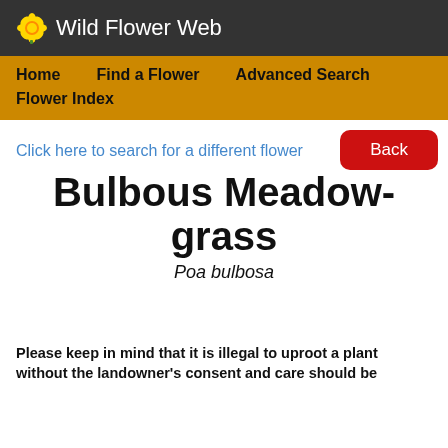🌸 Wild Flower Web
Home   Find a Flower   Advanced Search   Flower Index
Back
Click here to search for a different flower
Bulbous Meadow-grass
Poa bulbosa
Please keep in mind that it is illegal to uproot a plant without the landowner's consent and care should be